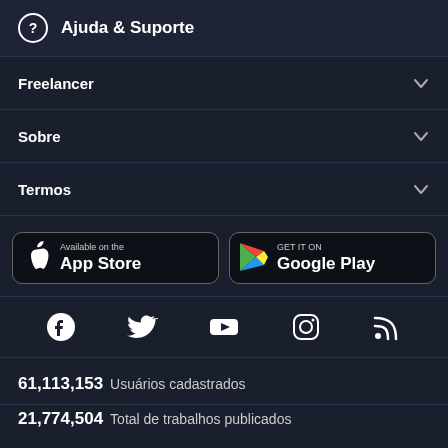Ajuda & Suporte
Freelancer
Sobre
Termos
[Figure (screenshot): App Store and Google Play download buttons]
[Figure (screenshot): Social media icons: Facebook, Twitter, YouTube, Instagram, RSS]
61,113,153 Usuários cadastrados
21,774,504 Total de trabalhos publicados